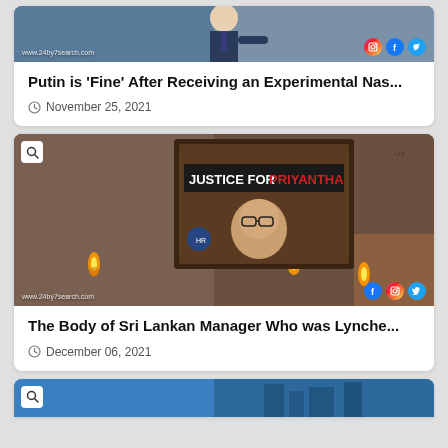[Figure (photo): Top portion of a news card showing a man in suit pointing, with watermark www.24by7search.com and social media icons (Instagram, Facebook, Twitter)]
Putin is 'Fine' After Receiving an Experimental Nas...
November 25, 2021
[Figure (photo): Protest image showing hands lighting candles near a sign reading 'JUSTICE FOR PRIYANTHA' with a portrait of a man with glasses, watermark www.24by7search.com and social media icons]
The Body of Sri Lankan Manager Who was Lynche...
December 06, 2021
[Figure (photo): Bottom partial card showing a blue image, partially cropped]